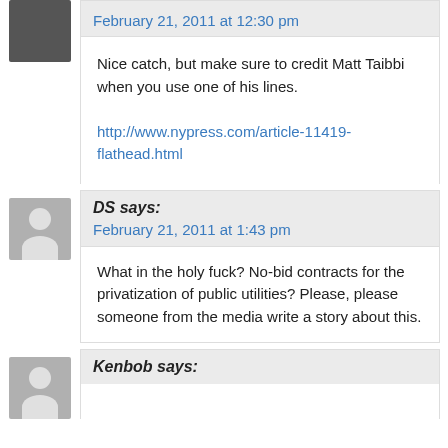February 21, 2011 at 12:30 pm
Nice catch, but make sure to credit Matt Taibbi when you use one of his lines.
http://www.nypress.com/article-11419-flathead.html
DS says:
February 21, 2011 at 1:43 pm
What in the holy fuck? No-bid contracts for the privatization of public utilities? Please, please someone from the media write a story about this.
Kenbob says: